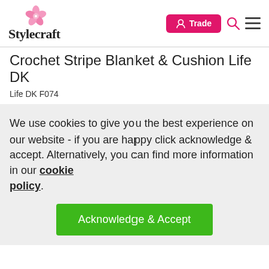Stylecraft — Trade | Search | Menu
Crochet Stripe Blanket & Cushion Life DK
Life DK F074
We use cookies to give you the best experience on our website - if you are happy click acknowledge & accept. Alternatively, you can find more information in our cookie policy.
Acknowledge & Accept